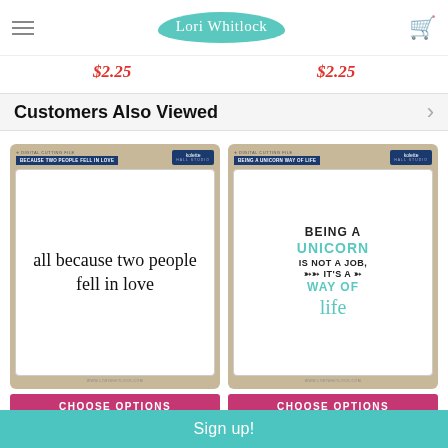Lori Whitlock
$2.25   $2.25
Customers Also Viewed
[Figure (photo): Product packaging for 'all because two people fell in love' digital cutting file by Kolette Hall Studio]
[Figure (photo): Product packaging for 'Being a Unicorn is not a job, it's a way of life' digital cutting file by Kolette Hall Studio]
CHOOSE OPTIONS
CHOOSE OPTIONS
Because Two People Fell in…
Being a Unicorn Way of Life…
Sign up!